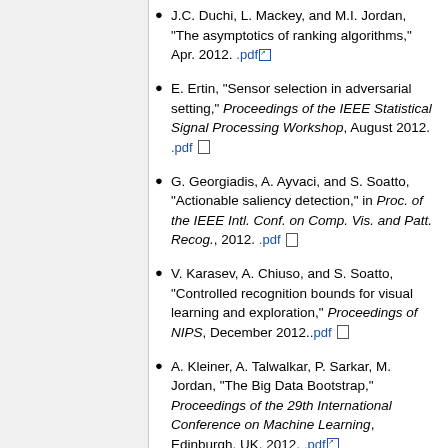J.C. Duchi, L. Mackey, and M.I. Jordan, "The asymptotics of ranking algorithms," Apr. 2012. .pdf
E. Ertin, "Sensor selection in adversarial setting," Proceedings of the IEEE Statistical Signal Processing Workshop, August 2012. .pdf
G. Georgiadis, A. Ayvaci, and S. Soatto, "Actionable saliency detection," in Proc. of the IEEE Intl. Conf. on Comp. Vis. and Patt. Recog., 2012. .pdf
V. Karasev, A. Chiuso, and S. Soatto, "Controlled recognition bounds for visual learning and exploration," Proceedings of NIPS, December 2012..pdf
A. Kleiner, A. Talwalkar, P. Sarkar, M. Jordan, "The Big Data Bootstrap," Proceedings of the 29th International Conference on Machine Learning, Edinburgh, UK, 2012. .pdf
Z. Meng, A. Wiesel, and A. O. Hero, "Distributed principal component analysis on networks via directed graphical